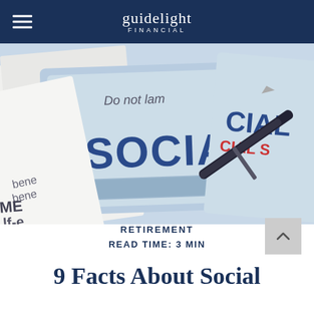guidelight FINANCIAL
[Figure (photo): Close-up photograph of a Social Security card with the text 'SOCIAL S[ecurity]' prominently visible in blue, along with partial text 'Do not lam[inate]' and 'bene[fits]', beside a pen, on a light blue background with other documents]
RETIREMENT
READ TIME: 3 MIN
9 Facts About Social